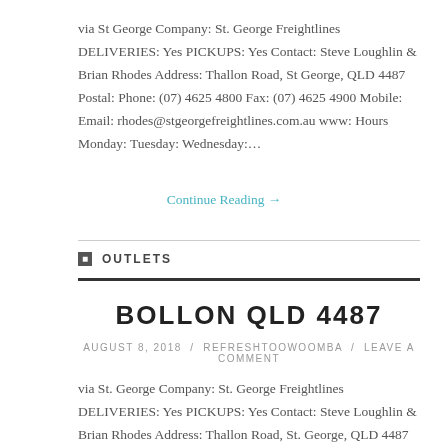via St George Company: St. George Freightlines DELIVERIES: Yes PICKUPS: Yes Contact: Steve Loughlin & Brian Rhodes Address: Thallon Road, St George, QLD 4487 Postal: Phone: (07) 4625 4800 Fax: (07) 4625 4900 Mobile: Email: rhodes@stgeorgefreightlines.com.au www: Hours Monday: Tuesday: Wednesday:…
Continue Reading →
OUTLETS
BOLLON QLD 4487
AUGUST 8, 2018 / REFRESHTOOWOOMBA / LEAVE A COMMENT
via St. George Company: St. George Freightlines DELIVERIES: Yes PICKUPS: Yes Contact: Steve Loughlin & Brian Rhodes Address: Thallon Road, St. George, QLD 4487 Postal: Phone: (07)